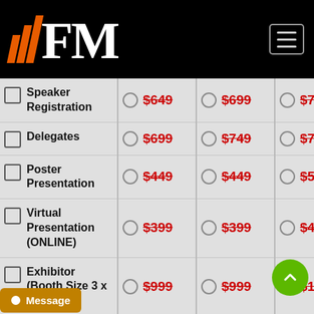[Figure (logo): FM logo with orange bars and white FM text on black background, plus hamburger menu icon]
| Registration Type | Early Bird | Regular | Late/Onsite |
| --- | --- | --- | --- |
| Speaker Registration | $649 | $699 | $749 |
| Delegates | $699 | $749 | $799 |
| Poster Presentation | $449 | $449 | $549 |
| Virtual Presentation (ONLINE) | $399 | $399 | $499 |
| Exhibitor (Booth Size 3 x 3 Sqm) | $999 | $999 | $1... |
| E-Poster | $99 | $99 | $110 |